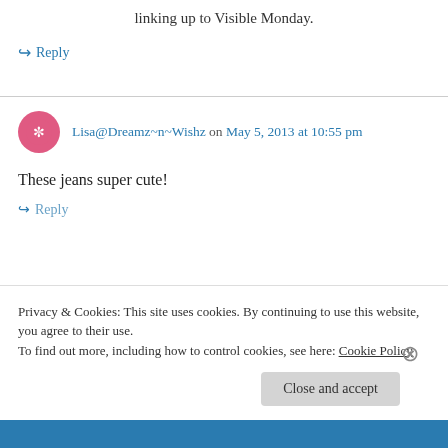linking up to Visible Monday.
↪ Reply
Lisa@Dreamz~n~Wishz on May 5, 2013 at 10:55 pm
These jeans super cute!
↪ Reply
Privacy & Cookies: This site uses cookies. By continuing to use this website, you agree to their use.
To find out more, including how to control cookies, see here: Cookie Policy
Close and accept